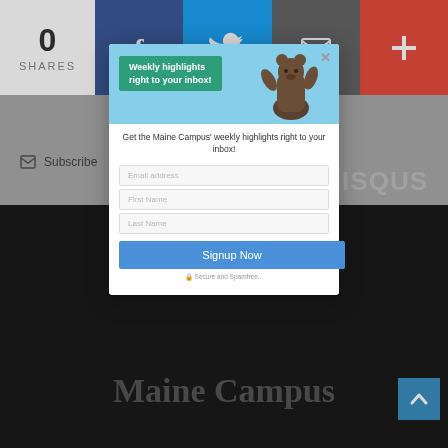[Figure (infographic): Share bar at top with 0 shares count, Facebook button (dark blue), Twitter button (light blue), Email button (gray), and plus button (red)]
Subscribe
DISQUS
Maine Campus
[Figure (infographic): Back to top arrow button, teal/blue square]
[Figure (screenshot): Modal popup dialog with banner image showing bear statue and green 'Weekly highlights right to your inbox!' box, followed by a form with Email address, First Name, Last Name fields and Signup Now button]
Get the Maine Campus' weekly highlights right to your inbox!
Secure and Spamfree...